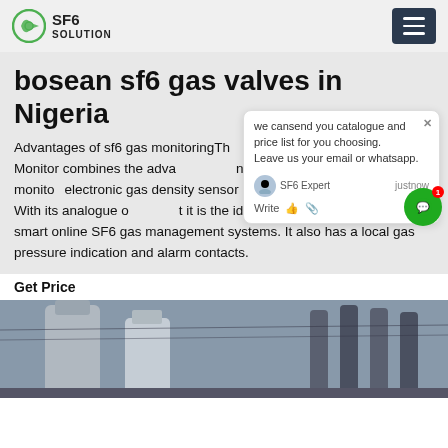SF6 SOLUTION
bosean sf6 gas valves in Nigeria
Advantages of sf6 gas monitoringThe SF6 Gas Density Monitor combines the advantages of the mechanical gas density monitor and the electronic gas density sensor in a compact, all-in-one apparatus: With its analogue output it is the ideal gas density monitor for smart online SF6 gas management systems. It also has a local gas pressure indication and alarm contacts.
Get Price
[Figure (photo): Industrial electrical substation equipment with large cylindrical towers and insulators]